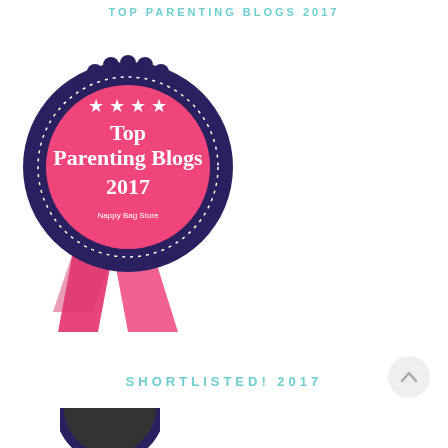TOP PARENTING BLOGS 2017
[Figure (illustration): Award badge/ribbon graphic for Top Parenting Blogs 2017 by Nappy Bag Store. Dark navy scalloped outer ring with dot border, pink inner circle with white text: stars, Top Parenting Blogs 2017, Nappy Bag Store. Pink ribbon tails below.]
SHORTLISTED! 2017
[Figure (illustration): Partial dark circular badge visible at bottom of page (cropped).]